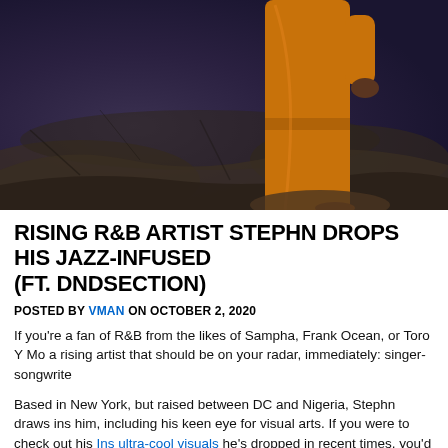[Figure (photo): A person wearing an orange/golden jumpsuit standing on rocky terrain with dark purple-grey rocky background. The figure is partially cropped, showing from approximately waist down, with one hand visible at the top. The setting appears to be an outdoor rocky landscape.]
RISING R&B ARTIST STEPHN DROPS HIS JAZZ-INFUSED (FT. DNDSECTION)
POSTED BY VMAN ON OCTOBER 2, 2020
If you're a fan of R&B from the likes of Sampha, Frank Ocean, or Toro Y Mo a rising artist that should be on your radar, immediately: singer-songwrite
Based in New York, but raised between DC and Nigeria, Stephn draws ins him, including his keen eye for visual arts. If you were to check out his Ins ultra-cool visuals he's dropped in recent times, you'd quickly realize this is